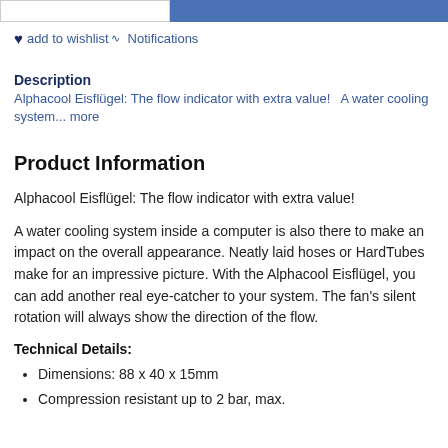add to wishlist Notifications
Description
Alphacool Eisflügel: The flow indicator with extra value!  A water cooling system... more
Product Information
Alphacool Eisflügel: The flow indicator with extra value!
A water cooling system inside a computer is also there to make an impact on the overall appearance. Neatly laid hoses or HardTubes make for an impressive picture. With the Alphacool Eisflügel, you can add another real eye-catcher to your system. The fan's silent rotation will always show the direction of the flow.
Technical Details:
Dimensions: 88 x 40 x 15mm
Compression resistant up to 2 bar, max.